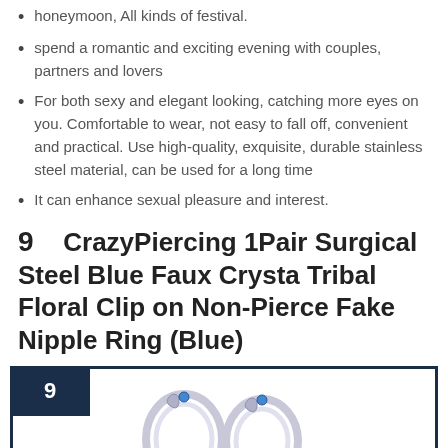honeymoon, All kinds of festival.
spend a romantic and exciting evening with couples, partners and lovers
For both sexy and elegant looking, catching more eyes on you. Comfortable to wear, not easy to fall off, convenient and practical. Use high-quality, exquisite, durable stainless steel material, can be used for a long time
It can enhance sexual pleasure and interest.
9  CrazyPiercing 1Pair Surgical Steel Blue Faux Crysta Tribal Floral Clip on Non-Pierce Fake Nipple Ring (Blue)
[Figure (photo): Product image area showing item 9 with blue faux crystal tribal floral clip nipple rings, inside a dark navy bordered box with number badge '9']